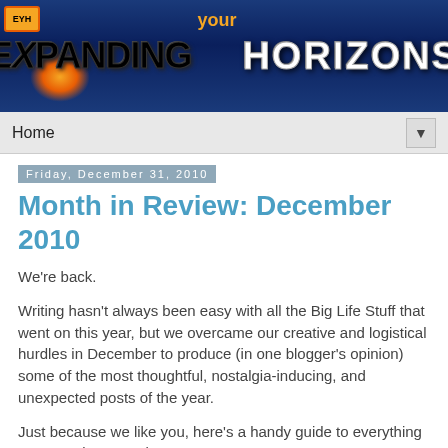[Figure (illustration): Expanding your Horizons blog banner with city skyline silhouette, orange sunset glow, and large stylized text reading EXPANDING your HORIZONS on a dark blue background]
Home ▼
Friday, December 31, 2010
Month in Review: December 2010
We're back.
Writing hasn't always been easy with all the Big Life Stuff that went on this year, but we overcame our creative and logistical hurdles in December to produce (in one blogger's opinion) some of the most thoughtful, nostalgia-inducing, and unexpected posts of the year.
Just because we like you, here's a handy guide to everything we wrote in December: